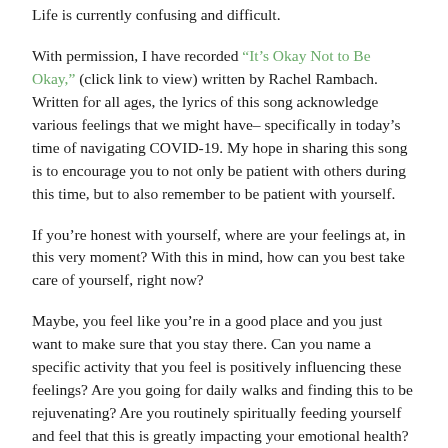Life is currently confusing and difficult.
With permission, I have recorded “It’s Okay Not to Be Okay,” (click link to view) written by Rachel Rambach. Written for all ages, the lyrics of this song acknowledge various feelings that we might have– specifically in today’s time of navigating COVID-19. My hope in sharing this song is to encourage you to not only be patient with others during this time, but to also remember to be patient with yourself.
If you’re honest with yourself, where are your feelings at, in this very moment? With this in mind, how can you best take care of yourself, right now?
Maybe, you feel like you’re in a good place and you just want to make sure that you stay there. Can you name a specific activity that you feel is positively influencing these feelings? Are you going for daily walks and finding this to be rejuvenating? Are you routinely spiritually feeding yourself and feel that this is greatly impacting your emotional health? Whatever it is that you feel is